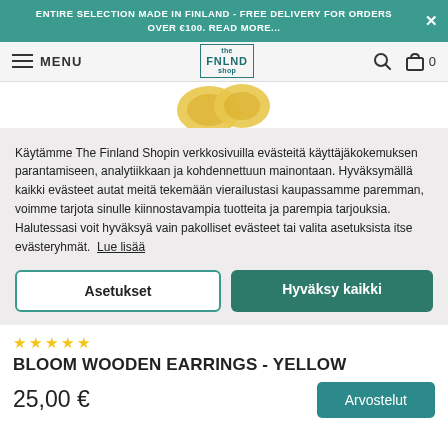ENTIRE SELECTION MADE IN FINLAND - FREE DELIVERY FOR ORDERS OVER €100. READ MORE...
[Figure (screenshot): Navigation bar with hamburger menu, MENU text, The FNLND Shop logo, search icon, and bag icon with 0 count]
[Figure (photo): Partial product image showing yellow wooden earrings (bloom shaped, circular)]
Käytämme The Finland Shopin verkkosivuilla evästeitä käyttäjäkokemuksen parantamiseen, analytiikkaan ja kohdennettuun mainontaan. Hyväksymällä kaikki evästeet autat meitä tekemään vierailustasi kaupassamme paremman, voimme tarjota sinulle kiinnostavampia tuotteita ja parempia tarjouksia. Halutessasi voit hyväksyä vain pakolliset evästeet tai valita asetuksista itse evästeryhmät. Lue lisää
Asetukset
Hyväksy kaikki
BLOOM WOODEN EARRINGS - YELLOW
25,00 €
Arvostelut